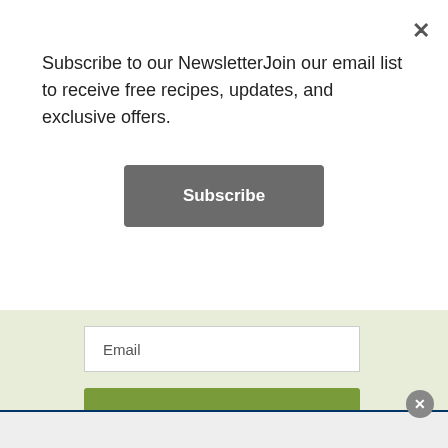Subscribe to our NewsletterJoin our email list to receive free recipes, updates, and exclusive offers.
[Figure (screenshot): A dark gray Subscribe button]
[Figure (screenshot): An email input field with placeholder text 'Email']
[Figure (screenshot): A green Subscribe button]
[Figure (screenshot): Partial cursive/script logo text visible at the bottom]
[Figure (screenshot): A circular close (x) button overlay at bottom right]
[Figure (screenshot): A bottom ad bar with dark blue top border]